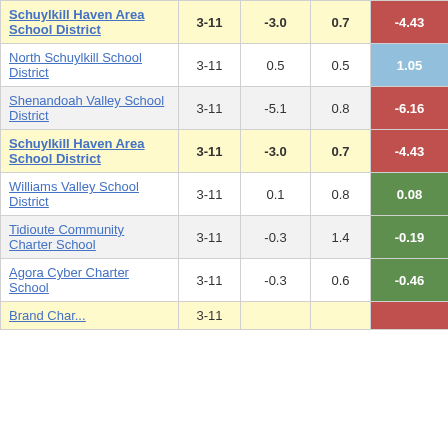| School/District | Grades | Col3 | Col4 | Score |
| --- | --- | --- | --- | --- |
| Schuylkill Haven Area School District | 3-11 | -3.0 | 0.7 | -4.43 |
| North Schuylkill School District | 3-11 | 0.5 | 0.5 | 1.05 |
| Shenandoah Valley School District | 3-11 | -5.1 | 0.8 | -6.16 |
| Schuylkill Haven Area School District | 3-11 | -3.0 | 0.7 | -4.43 |
| Williams Valley School District | 3-11 | 0.1 | 0.8 | 0.08 |
| Tidioute Community Charter School | 3-11 | -0.3 | 1.4 | -0.19 |
| Agora Cyber Charter School | 3-11 | -0.3 | 0.6 | -0.46 |
| Brand Char... | 3-11 |  |  |  |